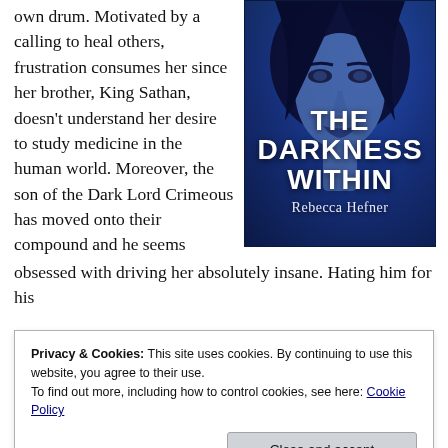own drum. Motivated by a calling to heal others, frustration consumes her since her brother, King Sathan, doesn't understand her desire to study medicine in the human world. Moreover, the son of the Dark Lord Crimeous has moved onto their compound and he seems obsessed with driving her absolutely insane. Hating him for his
[Figure (illustration): Book cover for 'The Darkness Within' by Rebecca Hefner. Blue-tinted cover showing a woman's face with dark hair. Large white bold text reads 'THE DARKNESS WITHIN' and below in serif font 'Rebecca Hefner'.]
more beautiful and passionate. Frustrated by her dramatics and
Privacy & Cookies: This site uses cookies. By continuing to use this website, you agree to their use.
To find out more, including how to control cookies, see here: Cookie Policy